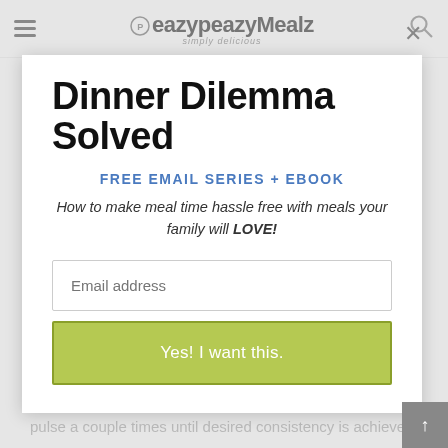eazypeazyMealz simply delicious
Dinner Dilemma Solved
FREE EMAIL SERIES + EBOOK
How to make meal time hassle free with meals your family will LOVE!
Email address
Yes! I want this.
onions. blend the rest. then put in the reserved items and pulse a couple times until desired consistency is achieved.